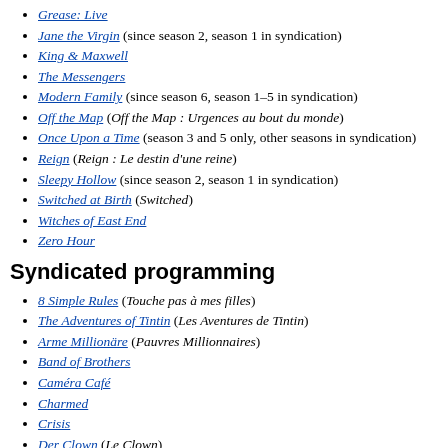Grease: Live
Jane the Virgin (since season 2, season 1 in syndication)
King & Maxwell
The Messengers
Modern Family (since season 6, season 1–5 in syndication)
Off the Map (Off the Map : Urgences au bout du monde)
Once Upon a Time (season 3 and 5 only, other seasons in syndication)
Reign (Reign : Le destin d'une reine)
Sleepy Hollow (since season 2, season 1 in syndication)
Switched at Birth (Switched)
Witches of East End
Zero Hour
Syndicated programming
8 Simple Rules (Touche pas à mes filles)
The Adventures of Tintin (Les Aventures de Tintin)
Arme Millionäre (Pauvres Millionnaires)
Band of Brothers
Caméra Café
Charmed
Crisis
Der Clown (Le Clown)